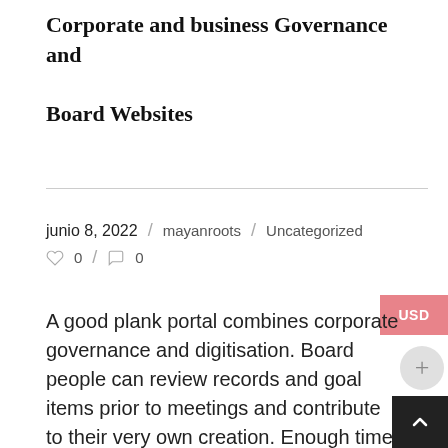Corporate and business Governance and Board Websites
junio 8, 2022 / mayanroots / Uncategorized ♡0 / ○0
A good plank portal combines corporate governance and digitisation. Board people can review records and goal items prior to meetings and contribute to their very own creation. Enough time stamps and notes of who made edits are readable, as well as the document's history is fully audited. Plank members can easily communicate more effectively with other directors and the